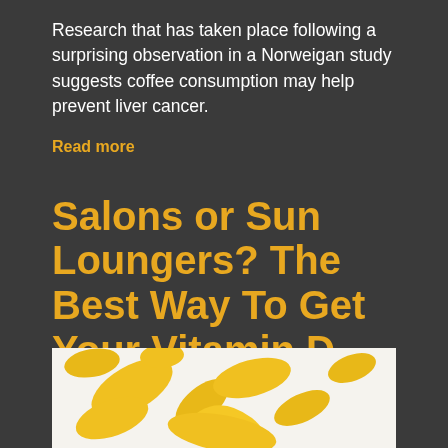Research that has taken place following a surprising observation in a Norweigan study suggests coffee consumption may help prevent liver cancer.
Read more
Salons or Sun Loungers? The Best Way To Get Your Vitamin D.
28 May, 2019
[Figure (photo): Yellow sun illustration / graphic on white background, showing swirling yellow paint or sun rays]